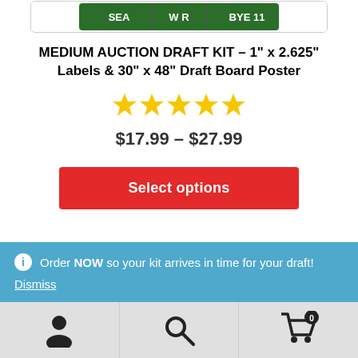[Figure (screenshot): Partial view of a fantasy football draft board label strip showing SEA, WR, BYE 11 on a green background]
MEDIUM AUCTION DRAFT KIT – 1" x 2.625" Labels & 30" x 48" Draft Board Poster
[Figure (other): Five gold star rating icons]
$17.99 – $27.99
Select options
ℹ Order NOW so your kit arrives in time for your draft!
Dismiss
[Figure (other): Bottom navigation bar with user account icon, search icon, and cart icon with 0 badge]